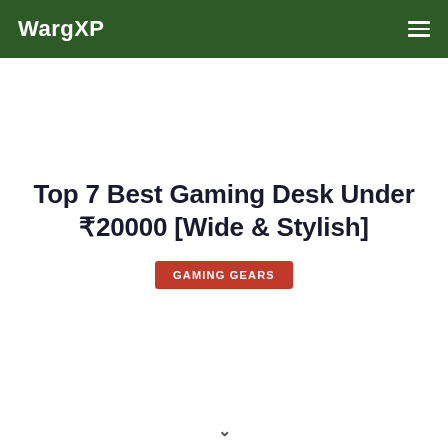WargXP
Top 7 Best Gaming Desk Under ₹20000 [Wide & Stylish]
GAMING GEARS